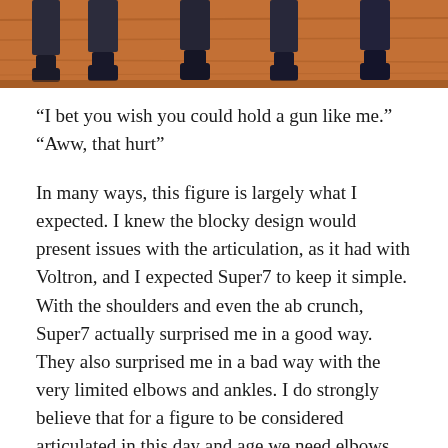[Figure (photo): Close-up photo of action figure feet on a wooden surface, showing multiple figures standing side by side with black boots/feet visible.]
“I bet you wish you could hold a gun like me.” “Aww, that hurt”
In many ways, this figure is largely what I expected. I knew the blocky design would present issues with the articulation, as it had with Voltron, and I expected Super7 to keep it simple. With the shoulders and even the ab crunch, Super7 actually surprised me in a good way. They also surprised me in a bad way with the very limited elbows and ankles. I do strongly believe that for a figure to be considered articulated in this day and age we need elbows that hit 90 degrees (or near enough) and ankle joints that provide for better stances on the shelf. The ankle is hugely important for a figure because that’s the